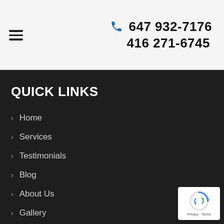647 932-7176 416 271-6745
QUICK LINKS
Home
Services
Testimonials
Blog
About Us
Gallery
Contact Us
[Figure (logo): Google reCAPTCHA badge with spinning arrows icon and Privacy - Terms text]